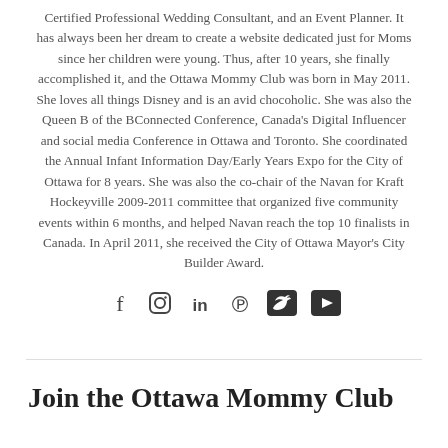Certified Professional Wedding Consultant, and an Event Planner. It has always been her dream to create a website dedicated just for Moms since her children were young. Thus, after 10 years, she finally accomplished it, and the Ottawa Mommy Club was born in May 2011. She loves all things Disney and is an avid chocoholic. She was also the Queen B of the BConnected Conference, Canada's Digital Influencer and social media Conference in Ottawa and Toronto. She coordinated the Annual Infant Information Day/Early Years Expo for the City of Ottawa for 8 years. She was also the co-chair of the Navan for Kraft Hockeyville 2009-2011 committee that organized five community events within 6 months, and helped Navan reach the top 10 finalists in Canada. In April 2011, she received the City of Ottawa Mayor's City Builder Award.
[Figure (infographic): Social media icons: Facebook, Instagram, LinkedIn, Pinterest, Twitter, YouTube]
Join the Ottawa Mommy Club